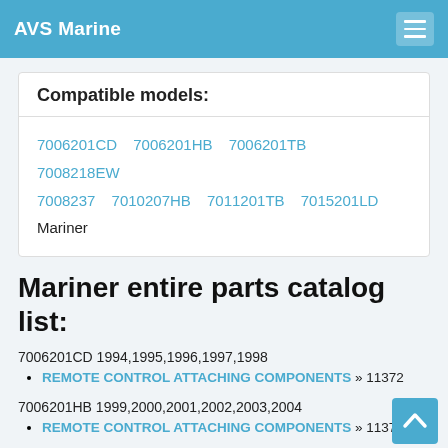AVS Marine
Compatible models:
7006201CD  7006201HB  7006201TB  7008218EW  7008237  7010207HB  7011201TB  7015201LD  Mariner
Mariner entire parts catalog list:
7006201CD 1994,1995,1996,1997,1998
REMOTE CONTROL ATTACHING COMPONENTS » 11372
7006201HB 1999,2000,2001,2002,2003,2004
REMOTE CONTROL ATTACHING COMPONENTS » 11372